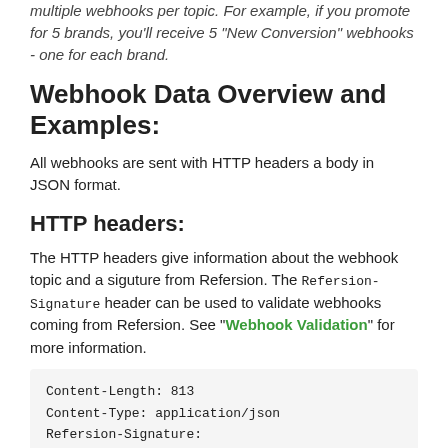multiple webhooks per topic. For example, if you promote for 5 brands, you'll receive 5 "New Conversion" webhooks - one for each brand.
Webhook Data Overview and Examples:
All webhooks are sent with HTTP headers a body in JSON format.
HTTP headers:
The HTTP headers give information about the webhook topic and a siguture from Refersion. The Refersion-Signature header can be used to validate webhooks coming from Refersion. See "Webhook Validation" for more information.
Content-Length: 813
Content-Type: application/json
Refersion-Signature: abcdefghijklmnopqrstuvwxyz12